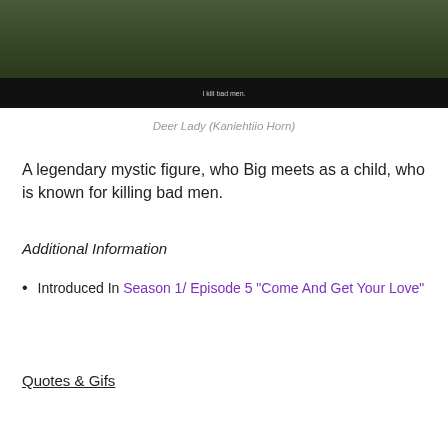[Figure (screenshot): A screenshot from an FX TV show. Two people are shown outdoors with trees in background. One holds what appears to be an umbrella. A subtitle at the bottom reads 'I kill bad men.' with the FX logo in the lower right.]
Deer Lady (Kaniehtiio Horn)
A legendary mystic figure, who Big meets as a child, who is known for killing bad men.
Additional Information
Introduced In Season 1/ Episode 5 “Come And Get Your Love”
Quotes & Gifs